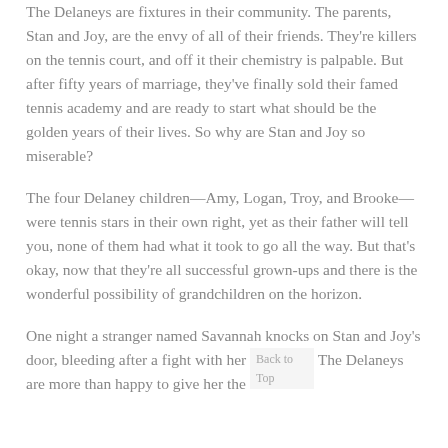The Delaneys are fixtures in their community. The parents, Stan and Joy, are the envy of all of their friends. They're killers on the tennis court, and off it their chemistry is palpable. But after fifty years of marriage, they've finally sold their famed tennis academy and are ready to start what should be the golden years of their lives. So why are Stan and Joy so miserable?
The four Delaney children—Amy, Logan, Troy, and Brooke—were tennis stars in their own right, yet as their father will tell you, none of them had what it took to go all the way. But that's okay, now that they're all successful grown-ups and there is the wonderful possibility of grandchildren on the horizon.
One night a stranger named Savannah knocks on Stan and Joy's door, bleeding after a fight with her boyfriend. The Delaneys are more than happy to give her the small